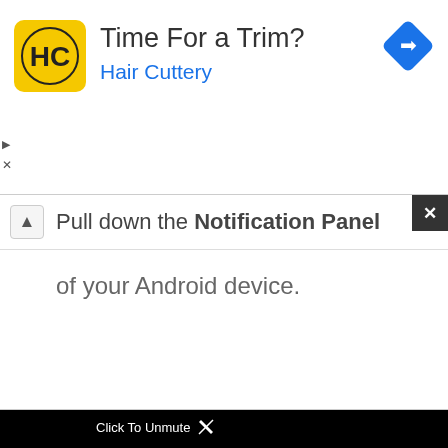[Figure (screenshot): Hair Cuttery advertisement banner with yellow logo showing 'HC', title 'Time For a Trim?', subtitle 'Hair Cuttery' in blue, and a blue navigation diamond icon on the right]
Pull down the Notification Panel of your Android device.
[Figure (screenshot): Black video player area showing 'Click To Unmute' label with cursor icon and a white error box with red exclamation icon saying 'Source not found']